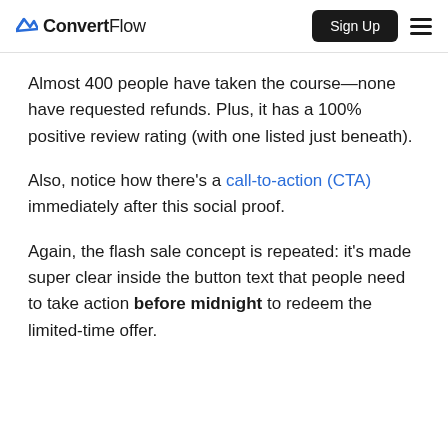ConvertFlow | Sign Up
Almost 400 people have taken the course—none have requested refunds. Plus, it has a 100% positive review rating (with one listed just beneath).
Also, notice how there’s a call-to-action (CTA) immediately after this social proof.
Again, the flash sale concept is repeated: it’s made super clear inside the button text that people need to take action before midnight to redeem the limited-time offer.